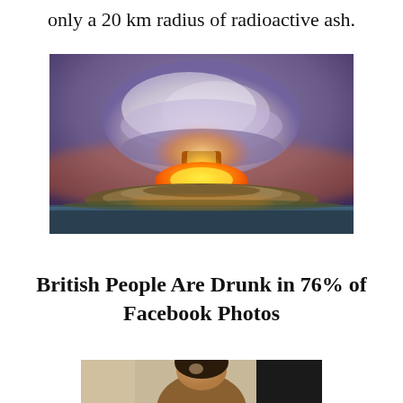only a 20 km radius of radioactive ash.
[Figure (photo): Nuclear explosion mushroom cloud over ocean/island, dramatic orange fireball at base with large grey-white mushroom cloud above]
British People Are Drunk in 76% of Facebook Photos
[Figure (photo): Partial photo of a person, cropped at bottom of page]